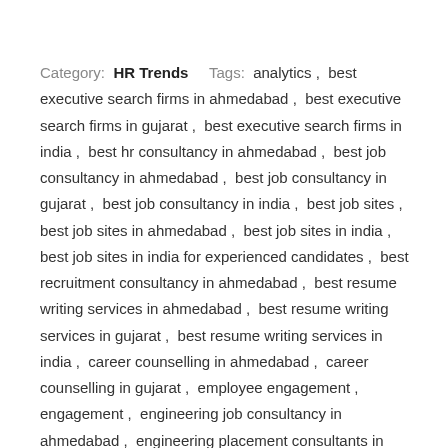Category: HR Trends    Tags: analytics, best executive search firms in ahmedabad, best executive search firms in gujarat, best executive search firms in india, best hr consultancy in ahmedabad, best job consultancy in ahmedabad, best job consultancy in gujarat, best job consultancy in india, best job sites, best job sites in ahmedabad, best job sites in india, best job sites in india for experienced candidates, best recruitment consultancy in ahmedabad, best resume writing services in ahmedabad, best resume writing services in gujarat, best resume writing services in india, career counselling in ahmedabad, career counselling in gujarat, employee engagement, engagement, engineering job consultancy in ahmedabad, engineering placement consultants in ahmedabad, Executive Search Firms, Featured, foreign job consultancy in ahmedabad, get settled in America, get settled in Australia get visa in Chile, get settled in Canada, get settled in Chile, get settled in New Zealand, get settled in North America, get settled in South America, get settled in Urugua, get settled in USA get